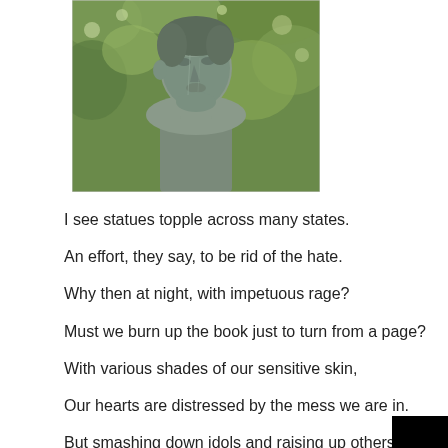[Figure (photo): Close-up photograph of a bronze statue bust, showing the face and upper torso of a figure with green patina, set against a blurred green leafy background.]
I see statues topple across many states.
An effort, they say, to be rid of the hate.
Why then at night, with impetuous rage?
Must we burn up the book just to turn from a page?
With various shades of our sensitive skin,
Our hearts are distressed by the mess we are in.
But smashing down idols and raising up others